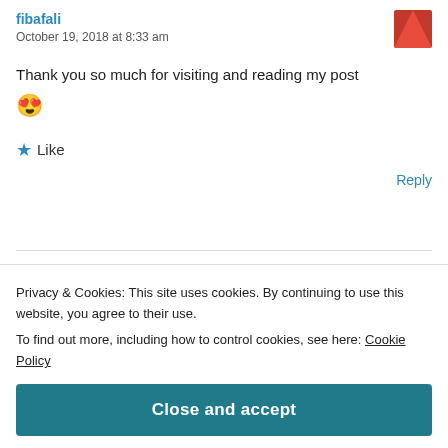fibafali
October 19, 2018 at 8:33 am
Thank you so much for visiting and reading my post 😍
★ Like
Reply
anitaliandish
Privacy & Cookies: This site uses cookies. By continuing to use this website, you agree to their use.
To find out more, including how to control cookies, see here: Cookie Policy
Close and accept